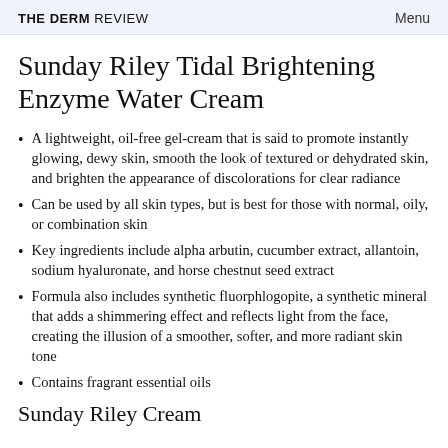THE DERM REVIEW  Menu
Sunday Riley Tidal Brightening Enzyme Water Cream
A lightweight, oil-free gel-cream that is said to promote instantly glowing, dewy skin, smooth the look of textured or dehydrated skin, and brighten the appearance of discolorations for clear radiance
Can be used by all skin types, but is best for those with normal, oily, or combination skin
Key ingredients include alpha arbutin, cucumber extract, allantoin, sodium hyaluronate, and horse chestnut seed extract
Formula also includes synthetic fluorphlogopite, a synthetic mineral that adds a shimmering effect and reflects light from the face, creating the illusion of a smoother, softer, and more radiant skin tone
Contains fragrant essential oils
Sunday Riley Cream